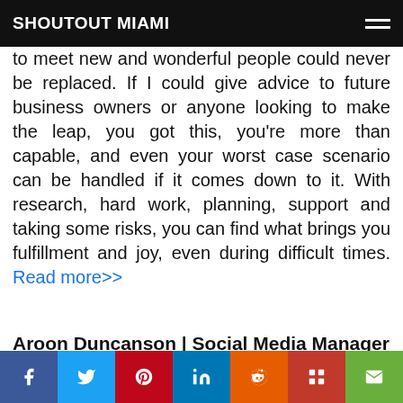SHOUTOUT MIAMI
to meet new and wonderful people could never be replaced. If I could give advice to future business owners or anyone looking to make the leap, you got this, you're more than capable, and even your worst case scenario can be handled if it comes down to it. With research, hard work, planning, support and taking some risks, you can find what brings you fulfillment and joy, even during difficult times. Read more>>
Aroon Duncanson | Social Media Manager
[Figure (photo): Close-up photo of food/beverage item with gold decorations on a white plate, warm brown tones, with a dark circular back-to-top button overlay]
Facebook | Twitter | Pinterest | LinkedIn | Reddit | Mix | Email social share buttons